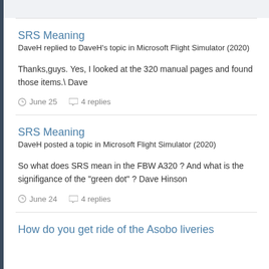SRS Meaning
DaveH replied to DaveH's topic in Microsoft Flight Simulator (2020)
Thanks,guys. Yes, I looked at the 320 manual pages and found those items.\ Dave
June 25   4 replies
SRS Meaning
DaveH posted a topic in Microsoft Flight Simulator (2020)
So what does SRS mean in the FBW A320 ? And what is the signifigance of the "green dot" ? Dave Hinson
June 24   4 replies
How do you get ride of the Asobo liveries